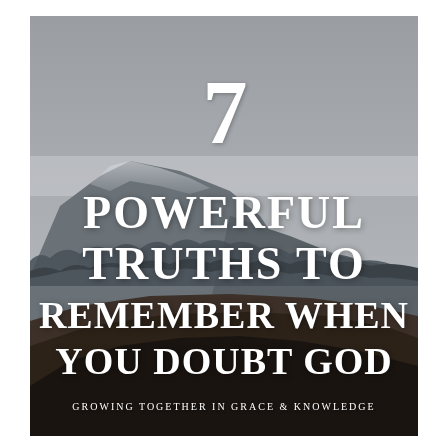[Figure (illustration): Snow-dusted mountain landscape with dark forested hills under an overcast grey sky. White text overlay reads '7 POWERFUL TRUTHS TO REMEMBER WHEN YOU DOUBT GOD' with a tagline 'GROWING TOGETHER IN GRACE & KNOWLEDGE' at the bottom.]
7 POWERFUL TRUTHS TO REMEMBER WHEN YOU DOUBT GOD
GROWING TOGETHER IN GRACE & KNOWLEDGE